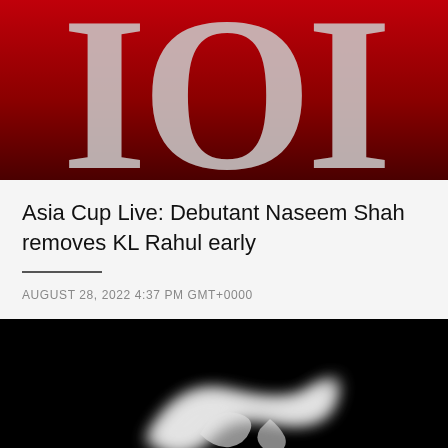[Figure (photo): Cropped red background image with large white serif letters partially visible, resembling a logo or banner]
Asia Cup Live: Debutant Naseem Shah removes KL Rahul early
AUGUST 28, 2022 4:37 PM GMT+0000
[Figure (photo): Black background image with a blurred white shape resembling a swoosh or bird logo]